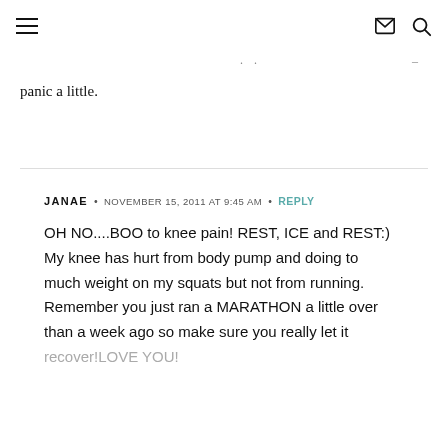≡  [mail icon] [search icon]
.. –
panic a little.
JANAE • NOVEMBER 15, 2011 AT 9:45 AM • REPLY
OH NO....BOO to knee pain! REST, ICE and REST:) My knee has hurt from body pump and doing to much weight on my squats but not from running. Remember you just ran a MARATHON a little over than a week ago so make sure you really let it recover!LOVE YOU!